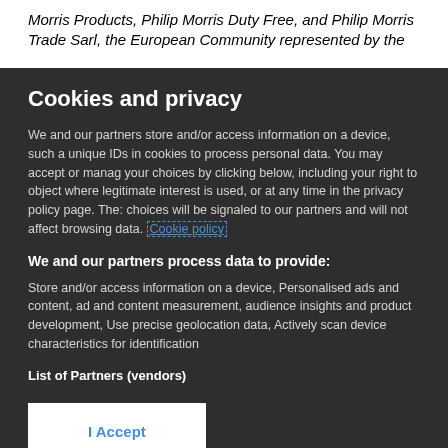Morris Products, Philip Morris Duty Free, and Philip Morris Trade Sarl, the European Community represented by the
Cookies and privacy
We and our partners store and/or access information on a device, such as unique IDs in cookies to process personal data. You may accept or manage your choices by clicking below, including your right to object where legitimate interest is used, or at any time in the privacy policy page. These choices will be signaled to our partners and will not affect browsing data. Cookie policy
We and our partners process data to provide:
Store and/or access information on a device, Personalised ads and content, ad and content measurement, audience insights and product development, Use precise geolocation data, Actively scan device characteristics for identification
List of Partners (vendors)
I Accept